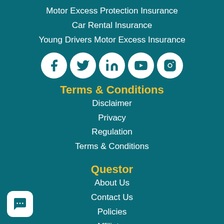Motor Excess Protection Insurance
Car Rental Insurance
Young Drivers Motor Excess Insurance
[Figure (infographic): Row of five social media icons (Facebook, Twitter, LinkedIn, YouTube, Instagram) as white circles on teal background]
Terms & Conditions
Disclaimer
Privacy
Regulation
Terms & Conditions
Questor
About Us
Contact Us
Policies
Affiliates
Charity
Frequently Asked Questions
Great Customer Service
Insurance Products